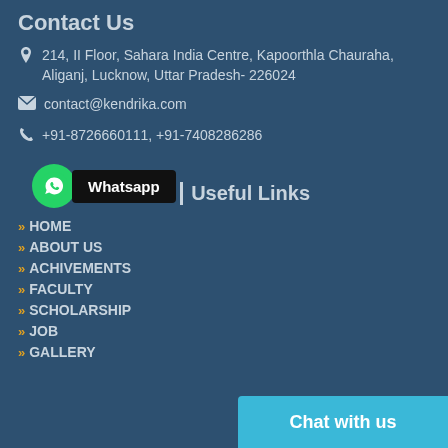Contact Us
📍 214, II Floor, Sahara India Centre, Kapoorthla Chauraha, Aliganj, Lucknow, Uttar Pradesh- 226024
✉ contact@kendrika.com
📞 +91-8726660111, +91-7408286286
[Figure (other): WhatsApp button with green circle logo and black label saying Whatsapp]
Useful Links
HOME
ABOUT US
ACHIVEMENTS
FACULTY
SCHOLARSHIP
JOB
GALLERY
Chat with us